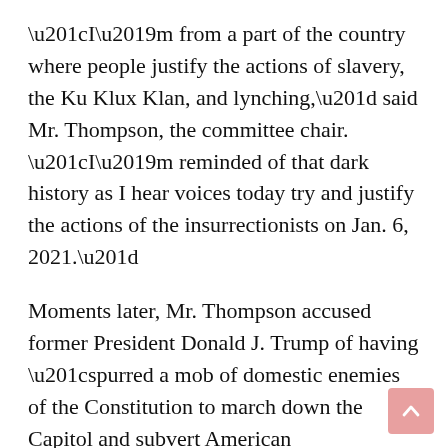“I’m from a part of the country where people justify the actions of slavery, the Ku Klux Klan, and lynching,” said Mr. Thompson, the committee chair. “I’m reminded of that dark history as I hear voices today try and justify the actions of the insurrectionists on Jan. 6, 2021.”
Moments later, Mr. Thompson accused former President Donald J. Trump of having “spurred a mob of domestic enemies of the Constitution to march down the Capitol and subvert American democracy.”
Mr. Thompson, who is also chair of the House Homeland Security Committee, has spent nearly 30 years on Capitol Hill, but his leadership of the Jan. 6 committee represents his most significant role in the national...